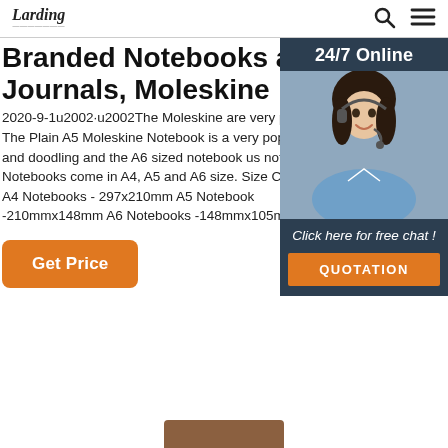Larding (logo) | Search | Menu
Branded Notebooks and Journals, Moleskine
2020-9-1u2002·u2002The Moleskine are very popular gifts. The Plain A5 Moleskine Notebook is a very popular for sketching and doodling and the A6 sized notebook used for notes. Notebooks come in A4, A5 and A6 size. Size C Notebooks A4 Notebooks - 297x210mm A5 Notebooks -210mmx148mm A6 Notebooks -148mmx105mm. Be
[Figure (photo): Customer support woman with headset smiling, with 24/7 Online label and Click here for free chat! / QUOTATION button below]
Get Price
[Figure (photo): Brown notebook/journal product image at bottom center]